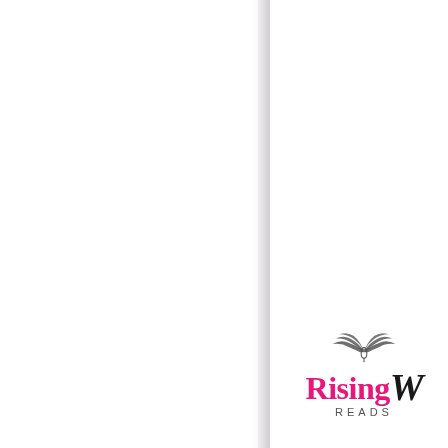[Figure (illustration): Left half of the page covered with a repeating ornamental tile pattern in light lavender/purple on white background. Pattern consists of circular medallion motifs with cross and floral elements arranged in a grid.]
[Figure (logo): Rising Wings Reads logo in the bottom right area. Features a pair of wings illustration above the text. 'Rising' in bold pink/magenta, followed by a cursive/script letter in black, and 'READS' in small caps below.]